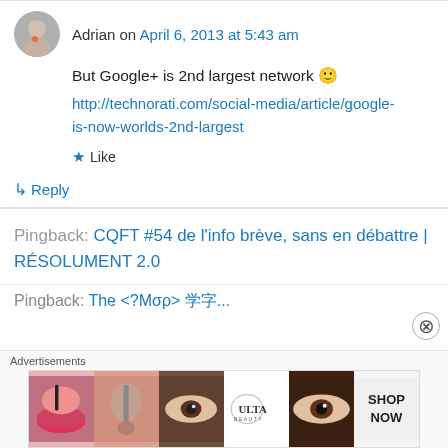Adrian on April 6, 2013 at 5:43 am
But Google+ is 2nd largest network 🙂
http://technorati.com/social-media/article/google-is-now-worlds-2nd-largest
★ Like
↳ Reply
Pingback: CQFT #54 de l'info brève, sans en débattre | RÉSOLUMENT 2.0
Advertisements
[Figure (other): ULTA Beauty advertisement banner with makeup-themed images and SHOP NOW call to action]